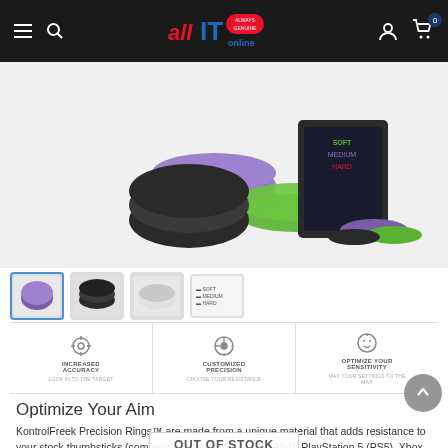allIT online — navigation bar with hamburger menu, search, logo, user and cart icons
[Figure (photo): Product photo of KontrolFreek Precision Rings — multiple coloured rings (purple, green, black) displayed with packaging showing SOFT/MEDIUM/HARD resistance levels]
[Figure (photo): Four product thumbnail images below main product photo]
[Figure (infographic): Three feature icons: Increased Accuracy (crosshair), Customized Precision (dial), Optimize your Sensitivity (smiley face dial), each with subtitle text]
Optimize Your Aim
KontrolFreek Precision Rings™ are made from a unique material that adds resistance to your stock thumbsticks (compatible with PlayStation 4 (PS4), PlayStation 5 (PS5), Xbox One (XB) & Switch Pro) so you can take more accurate shots, even at max in-game sensitivities. They are highly elastic and antimicrobial, so you can use them again and again. If you love our Performance Thumbsticks®, Precision Rings are compatible. Try combining them with your favorite Performance Thumbsticks to
[Figure (other): OUT OF STOCK overlay button/badge]